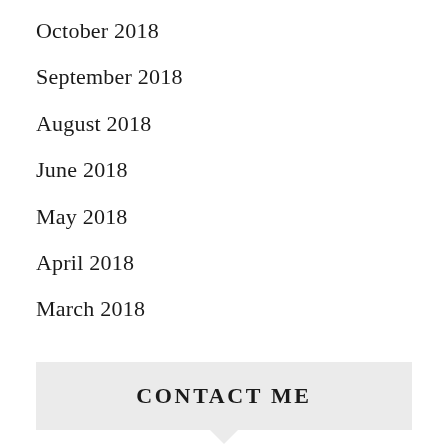October 2018
September 2018
August 2018
June 2018
May 2018
April 2018
March 2018
CONTACT ME